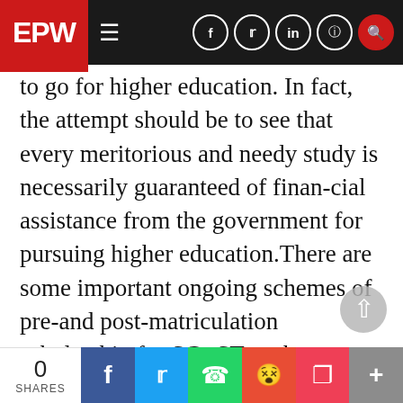EPW
to go for higher education. In fact, the attempt should be to see that every meritorious and needy study is necessarily guaranteed of financial assistance from the government for pursuing higher education.There are some important ongoing schemes of pre-and post-matriculation scholarship for SCs,STs, other backward classes and minorities, which are admin-istered by the ministries of social justice and empowerment, tribal affairs and minority affairs (Table 11). The allo-cations do not show any significantly different pattern compared to the budget estimates in 08. though there are some significant increases
0 SHARES | Facebook | Twitter | WhatsApp | Reddit | Pocket | +